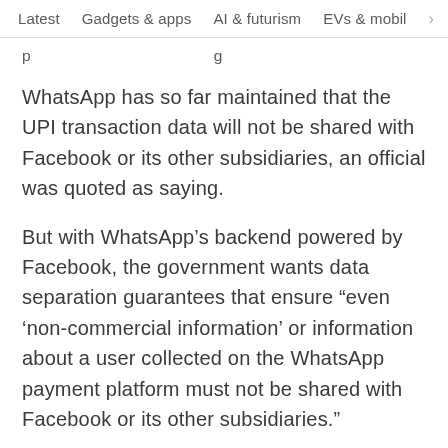Latest   Gadgets & apps   AI & futurism   EVs & mobil  >
p…g
WhatsApp has so far maintained that the UPI transaction data will not be shared with Facebook or its other subsidiaries, an official was quoted as saying.
But with WhatsApp’s backend powered by Facebook, the government wants data separation guarantees that ensure “even ‘non-commercial information’ or information about a user collected on the WhatsApp payment platform must not be shared with Facebook or its other subsidiaries.”
“If the two companies keep using the data collected by WhatsApp payment, that is a violation of the